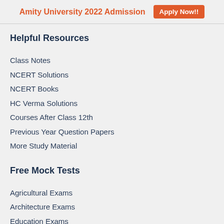Amity University 2022 Admission  Apply Now!!
Helpful Resources
Class Notes
NCERT Solutions
NCERT Books
HC Verma Solutions
Courses After Class 12th
Previous Year Question Papers
More Study Material
Free Mock Tests
Agricultural Exams
Architecture Exams
Education Exams
Engineering Exams